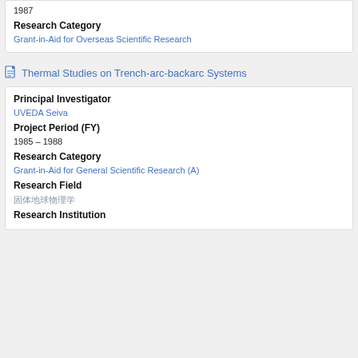1987
Research Category
Grant-in-Aid for Overseas Scientific Research
Thermal Studies on Trench-arc-backarc Systems
Principal Investigator
UVEDA Seiva
Project Period (FY)
1985 – 1988
Research Category
Grant-in-Aid for General Scientific Research (A)
Research Field
固体地球物理学
Research Institution